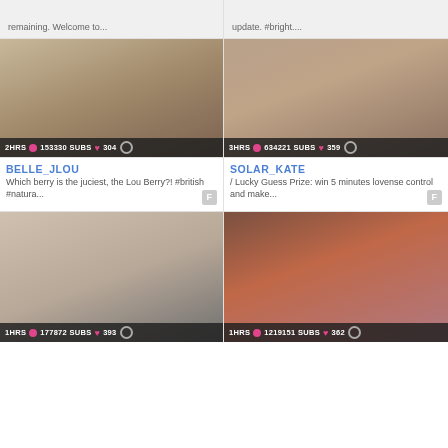remaining. Welcome to...
update. #bright....
[Figure (photo): Blonde woman, nude, sitting]
2HRS 153330 SUBS 304
BELLE_JLOU
Which berry is the juciest, the Lou Berry?! #british #natura...
[Figure (photo): Woman with tattoos, nude, lying down]
3HRS 634221 SUBS 359
SOLAR_KATE
/ Lucky Guess Prize: win 5 minutes lovense control and make...
[Figure (photo): Dark-haired woman, nude, lying back]
1HRS 177872 SUBS 393
[Figure (photo): Dark-haired woman, nude, standing in pink-lit room]
1HRS 1219151 SUBS 362